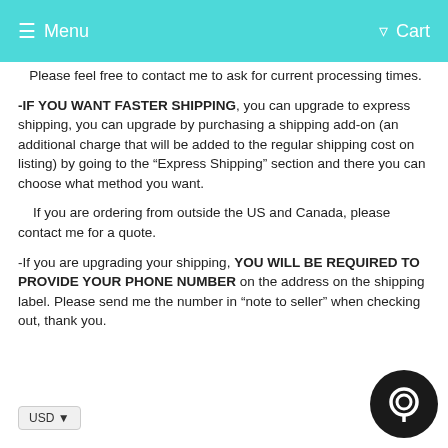Menu   Cart
Please feel free to contact me to ask for current processing times.
-IF YOU WANT FASTER SHIPPING, you can upgrade to express shipping, you can upgrade by purchasing a shipping add-on (an additional charge that will be added to the regular shipping cost on listing) by going to the “Express Shipping” section and there you can choose what method you want.
If you are ordering from outside the US and Canada, please contact me for a quote.
-If you are upgrading your shipping, YOU WILL BE REQUIRED TO PROVIDE YOUR PHONE NUMBER on the address on the shipping label. Please send me the number in “note to seller” when checking out, thank you.